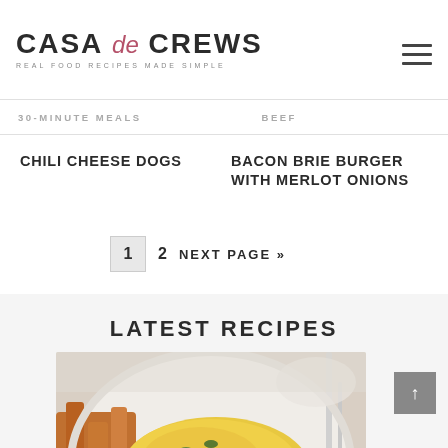CASA de CREWS — REAL FOOD RECIPES MADE SIMPLE
30-MINUTE MEALS   BEEF
CHILI CHEESE DOGS
BACON BRIE BURGER WITH MERLOT ONIONS
1  2  NEXT PAGE »
LATEST RECIPES
[Figure (photo): Food photo showing a cheesy baked dish on a white plate with roasted sweet potato fries, garnished with fresh herbs, with cutlery visible on the right side.]